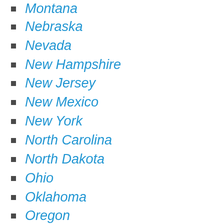Montana
Nebraska
Nevada
New Hampshire
New Jersey
New Mexico
New York
North Carolina
North Dakota
Ohio
Oklahoma
Oregon
Pennsylvania
Rhode Island
South Carolina
South Dakota
T…